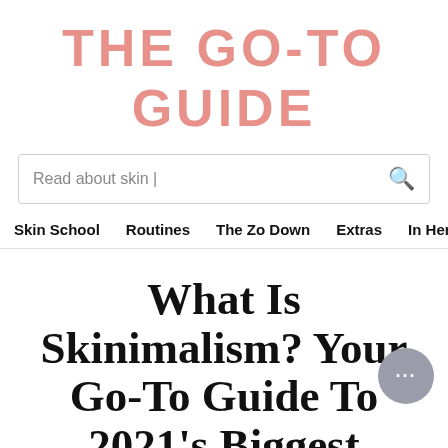THE GO-TO GUIDE
Read about skin |
Skin School   Routines   The Zo Down   Extras   In Her
What Is Skinimalism? Your Go-To Guide To 2021's Biggest Beauty Trend.
Megan Kelly
Less than 3 minutes / July 07, 2021